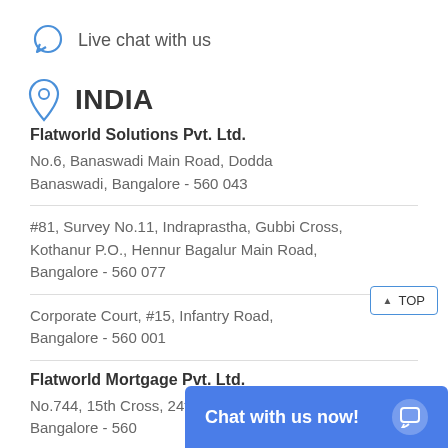Live chat with us
INDIA
Flatworld Solutions Pvt. Ltd.
No.6, Banaswadi Main Road, Dodda Banaswadi, Bangalore - 560 043
#81, Survey No.11, Indraprastha, Gubbi Cross,
Kothanur P.O., Hennur Bagalur Main Road,
Bangalore - 560 077
Corporate Court, #15, Infantry Road,
Bangalore - 560 001
Flatworld Mortgage Pvt. Ltd.
No.744, 15th Cross, 24th Main, J P Nagar 6th Phase,
Bangalore - 560
Chat with us now!